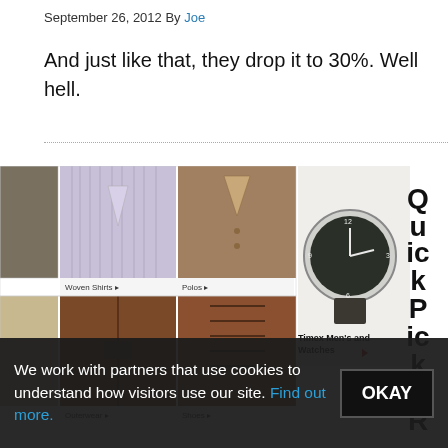September 26, 2012 By Joe
And just like that, they drop it to 30%. Well hell.
[Figure (screenshot): E-commerce clothing and accessories grid showing: top row - Woven Shirts and Polos categories with shirt and polo shirt photos; bottom row - Outerwear and Shoes categories with leather jacket and boots photos. To the right a Timex Men's Watches section with a wristwatch photo. Far right shows vertical 'QuickPicks: R...' text partially cut off.]
We work with partners that use cookies to understand how visitors use our site. Find out more.